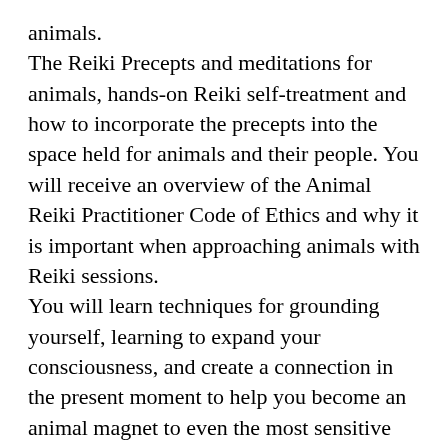animals. The Reiki Precepts and meditations for animals, hands-on Reiki self-treatment and how to incorporate the precepts into the space held for animals and their people. You will receive an overview of the Animal Reiki Practitioner Code of Ethics and why it is important when approaching animals with Reiki sessions. You will learn techniques for grounding yourself, learning to expand your consciousness, and create a connection in the present moment to help you become an animal magnet to even the most sensitive animals. This class is also great for your own